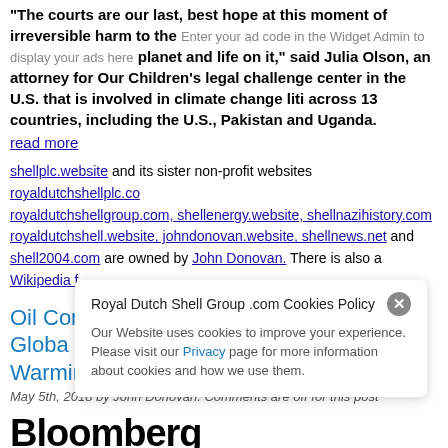"The courts are our last, best hope at this moment of irreversible harm to the planet and life on it," said Julia Olson, an attorney for Our Children's Trust, the legal challenge center in the U.S. that is involved in climate change litigation across 13 countries, including the U.S., Pakistan and Uganda.
Enter your ad code in the Widget Admin to display your ads here
read more
shellplc.website and its sister non-profit websites royaldutchshellplc.com, royaldutchshellgroup.com, shellenergy.website, shellnazihistory.com, royaldutchshell.website, johndonovan.website, shellnews.net and shell2004.com are owned by John Donovan. There is also a Wikipedia f…
Oil Companies Ask Judge to Kill NYC's Global Warming Lawsuit
May 5th, 2018 by John Donovan. Comments are off for this post
[Figure (logo): Bloomberg logo in bold black serif/sans font]
Oil Companies Ask Judge to Kill NYC's Global Warming Lawsuit
Royal Dutch Shell Group .com Cookies Policy
Our Website uses cookies to improve your experience. Please visit our Privacy page for more information about cookies and how we use them.